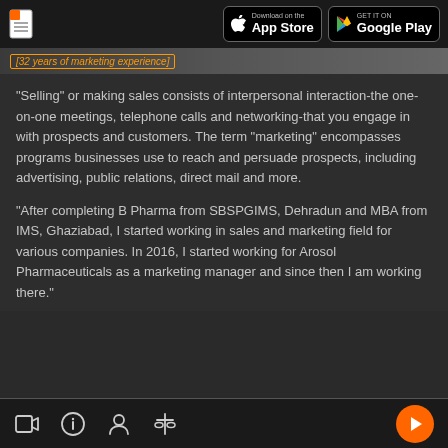Download on the App Store | GET IT ON Google Play
[Figure (screenshot): Partial image strip with text '[32 years of marketing experience]' in orange italic on dark background]
"Selling" or making sales consists of interpersonal interaction-the one-on-one meetings, telephone calls and networking-that you engage in with prospects and customers. The term "marketing" encompasses programs businesses use to reach and persuade prospects, including advertising, public relations, direct mail and more.
"After completing B Pharma from SBSPGIMS, Dehradun and MBA from IMS, Ghaziabad, I started working in sales and marketing field for various companies. In 2016, I started working for Arosol Pharmaceuticals as a marketing manager and since then I am working there."
Navigation icons: video, info, profile, settings | Play button